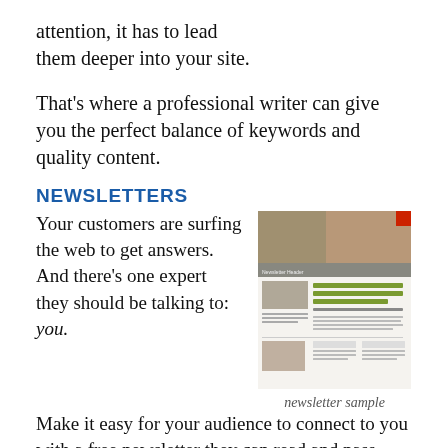attention, it has to lead them deeper into your site.
That's where a professional writer can give you the perfect balance of keywords and quality content.
NEWSLETTERS
Your customers are surfing the web to get answers. And there's one expert they should be talking to: you.
[Figure (photo): Newsletter sample showing a real estate newsletter with headline '3 Easy Steps to Finding the Perfect Real Estate Agent']
newsletter sample
Make it easy for your audience to connect to you with a free newsletter they can read and pass along to their friends. Find out how you can get content that helps your customers while it builds awareness of your brand.